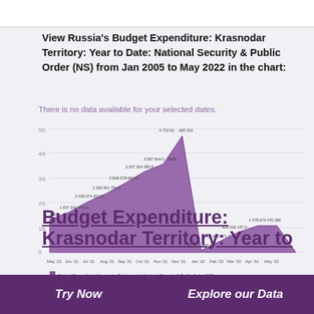View Russia's Budget Expenditure: Krasnodar Territory: Year to Date: National Security & Public Order (NS) from Jan 2005 to May 2022 in the chart:
[Figure (area-chart): There is no data available for your selected dates.]
Budget Expenditure: Krasnodar Territory: Year to
Try Now    Explore our Data